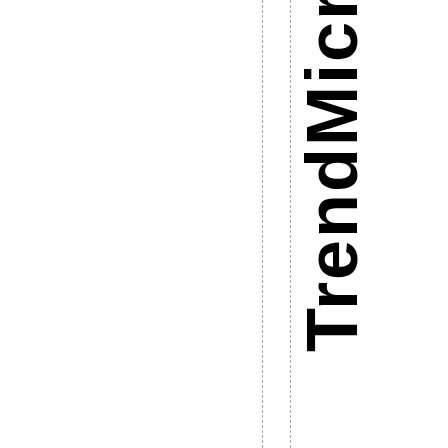[Figure (logo): TrendMicr logo text displayed vertically with dashed guide lines to the left]